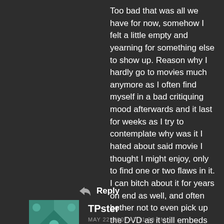Too bad that was all we have for now, somehow I felt a little empty and yearning for something else to show up. Reason why I hardly go to movies much anymore as I often find myself in a bad critiquing mood afterwards and it last for weeks as I try to contemplate why was it I hated about said movie I thought I might enjoy, only to find one or two flaws in it. I can bitch about it for years on end as well, and often bother not to even pick up the DVD as it still embeds into my brain and often I would tune out if someone else mentions so. All I know is that I blew $6 and got nothing out of the 80-100 minutes of my life.
Reply
TPster
MAY 22, 2007 AT 11:20 PM